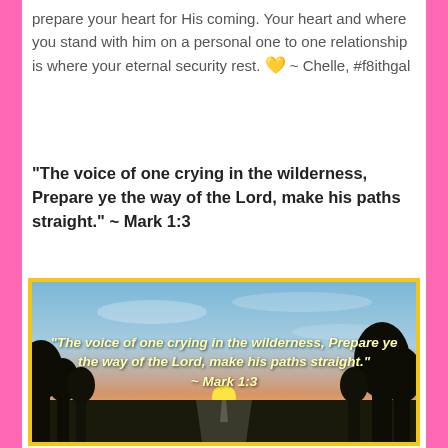prepare your heart for His coming. Your heart and where you stand with him on a personal one to one relationship is where your eternal security rest. 💛 ~ Chelle, #f8ithgal
“The voice of one crying in the wilderness, Prepare ye the way of the Lord, make his paths straight.” ~ Mark 1:3
[Figure (photo): Sunset landscape photo with a road leading into the horizon, silhouetted trees on both sides, and sky with warm colors. Overlaid italic bold text reads: “The voice of one crying in the wilderness, Prepare ye the way of the Lord, make his paths straight.” ~ Mark 1:3]